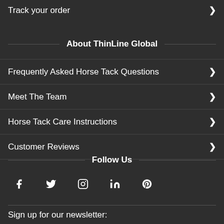Track your order
About ThinLine Global
Frequently Asked Horse Tack Questions
Meet The Team
Horse Tack Care Instructions
Customer Reviews
Follow Us
[Figure (illustration): Social media icons: Facebook, Twitter, Instagram, LinkedIn, Pinterest]
Sign up for our newsletter: